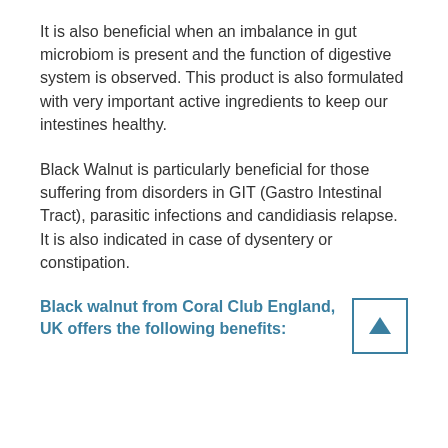It is also beneficial when an imbalance in gut microbiom is present and the function of digestive system is observed. This product is also formulated with very important active ingredients to keep our intestines healthy.
Black Walnut is particularly beneficial for those suffering from disorders in GIT (Gastro Intestinal Tract), parasitic infections and candidiasis relapse. It is also indicated in case of dysentery or constipation.
Black walnut from Coral Club England, UK offers the following benefits: